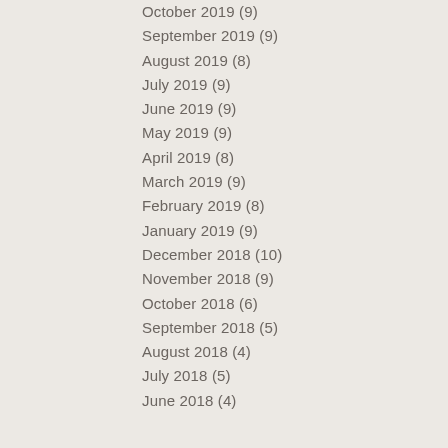October 2019 (9)
September 2019 (9)
August 2019 (8)
July 2019 (9)
June 2019 (9)
May 2019 (9)
April 2019 (8)
March 2019 (9)
February 2019 (8)
January 2019 (9)
December 2018 (10)
November 2018 (9)
October 2018 (6)
September 2018 (5)
August 2018 (4)
July 2018 (5)
June 2018 (4)